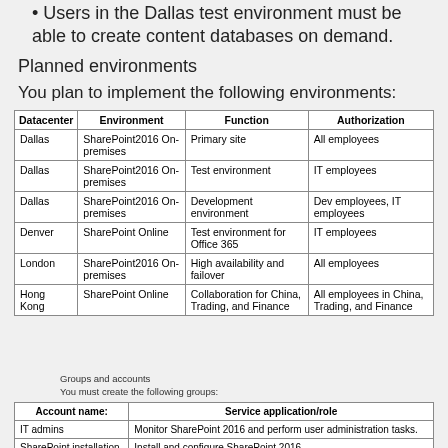Users in the Dallas test environment must be able to create content databases on demand.
Planned environments
You plan to implement the following environments:
| Datacenter | Environment | Function | Authorization |
| --- | --- | --- | --- |
| Dallas | SharePoint2016 On-premises | Primary site | All employees |
| Dallas | SharePoint2016 On-premises | Test environment | IT employees |
| Dallas | SharePoint2016 On-premises | Development environment | Dev employees, IT employees |
| Denver | SharePoint Online | Test environment for Office 365 | IT employees |
| London | SharePoint2016 On-premises | High availability and failover | All employees |
| Hong Kong | SharePoint Online | Collaboration for China, Trading, and Finance | All employees in China, Trading, and Finance |
Groups and accounts
You must create the following groups:
| Account name: | Service application/role |
| --- | --- |
| IT admins | Monitor SharePoint 2016 and perform user administration tasks. |
| SharePoint installation | Install and configure SharePoint 2016 |